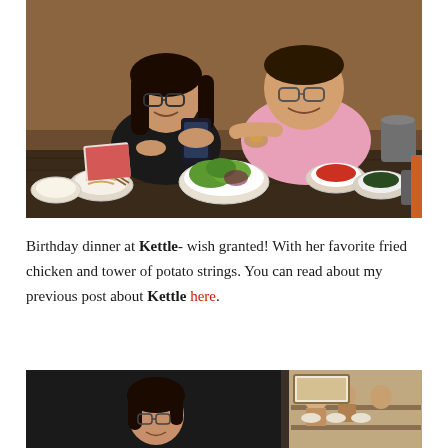[Figure (photo): Two women sitting at a restaurant table, both wearing glasses. One in black holds a smartphone, the other in pink points at it. The table has multiple small bowls of Korean side dishes, a salad, kimchi, and other food items.]
Birthday dinner at Kettle- wish granted! With her favorite fried chicken and tower of potato strings. You can read about my previous post about Kettle here.
[Figure (photo): A young girl with glasses and long dark hair standing in a restaurant, with other diners and shelves visible in the background.]